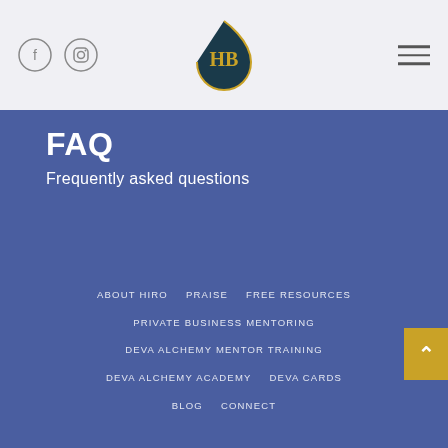Header with social icons, HB logo, and hamburger menu
FAQ
Frequently asked questions
ABOUT HIRO
PRAISE
FREE RESOURCES
PRIVATE BUSINESS MENTORING
DEVA ALCHEMY MENTOR TRAINING
DEVA ALCHEMY ACADEMY
DEVA CARDS
BLOG
CONNECT